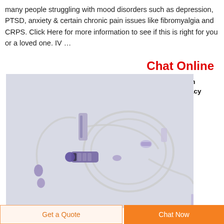many people struggling with mood disorders such as depression, PTSD, anxiety & certain chronic pain issues like fibromyalgia and CRPS. Click Here for more information to see if this is right for you or a loved one. IV …
Chat Online
Infusion Pharmacy -
[Figure (photo): IV infusion set with tubing, drip chamber, syringe, and connectors on a light gray/purple background]
Get a Quote
Chat Now